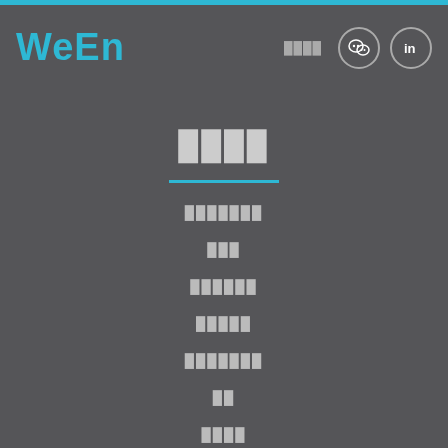WeEn  ████  [WeChat icon]  [LinkedIn icon]
████
███████
███
██████
█████
███████
██
████
████████
█████████